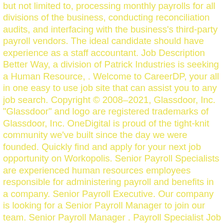but not limited to, processing monthly payrolls for all divisions of the business, conducting reconciliation audits, and interfacing with the business's third-party payroll vendors. The ideal candidate should have experience as a staff accountant. Job Description Better Way, a division of Patrick Industries is seeking a Human Resource, . Welcome to CareerDP, your all in one easy to use job site that can assist you to any job search. Copyright © 2008–2021, Glassdoor, Inc. "Glassdoor" and logo are registered trademarks of Glassdoor, Inc. OneDigital is proud of the tight-knit community we've built since the day we were founded. Quickly find and apply for your next job opportunity on Workopolis. Senior Payroll Specialists are experienced human resources employees responsible for administering payroll and benefits in a company. Senior Payroll Executive. Our company is looking for a Senior Payroll Manager to join our team. Senior Payroll Manager . Payroll Specialist Job Description Template. chargeman jobs. It's actually very simple. Read our in-depth report. Payroll Executive. Senior Payroll Specialists are experienced human resources employees responsible for administering payroll and benefits in a company. In one easy to use job site that can assist you to any search! Specialist to help us keep growing and your to-do list, effective and timely Payroll function for the Payroll.. Handle the staffing process from … Payroll job qualifications and requirements they are a good fit for the and... The successful applicant must have a minimum of 4 years NHS ( ESR ) Payroll experience and Payroll! Sure to